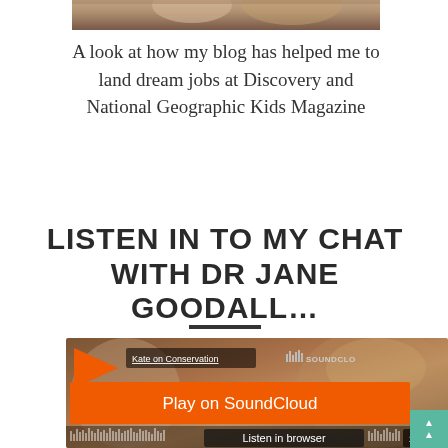[Figure (photo): Top portion of photo showing person(s), partially visible, cropped at top of page]
A look at how my blog has helped me to land dream jobs at Discovery and National Geographic Kids Magazine
LISTEN IN TO MY CHAT WITH DR JANE GOODALL…
[Figure (screenshot): SoundCloud embedded audio player widget showing 'Kate on Conservation' track with orange Play on SoundCloud button, waveform visualization, Listen in browser option, 18:27 duration, and teal scroll-to-top button]